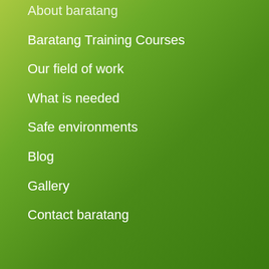About baratang
Baratang Training Courses
Our field of work
What is needed
Safe environments
Blog
Gallery
Contact baratang